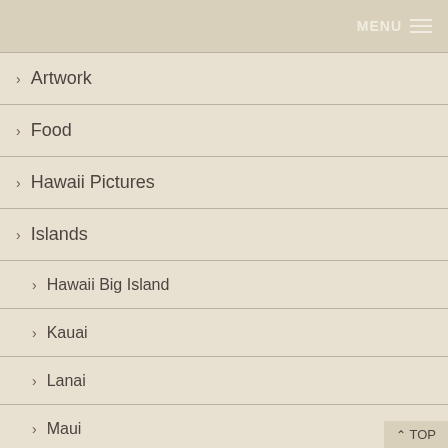MENU
Artwork
Food
Hawaii Pictures
Islands
Hawaii Big Island
Kauai
Lanai
Maui
Molokai
Molokini
Northwestern Hawaiian Islands
Oahu